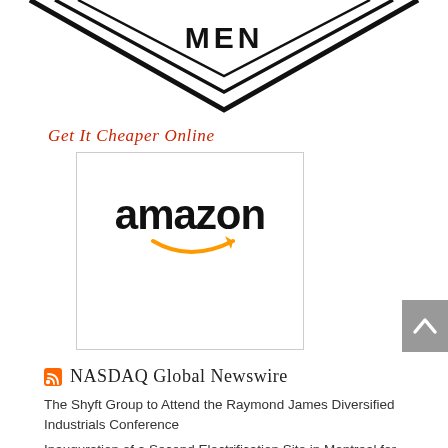[Figure (logo): Partial chevron/diamond logo with text MEN at the bottom, shown cropped at the top of the page]
Get It Cheaper Online
[Figure (logo): Amazon logo with orange arrow smile, inside a light grey bordered box]
[Figure (other): Grey scroll-to-top button with upward caret arrow on right edge]
NASDAQ Global Newswire
The Shyft Group to Attend the Raymond James Diversified Industrials Conference
Inauguration of a Second Electrification Site in Montreal for